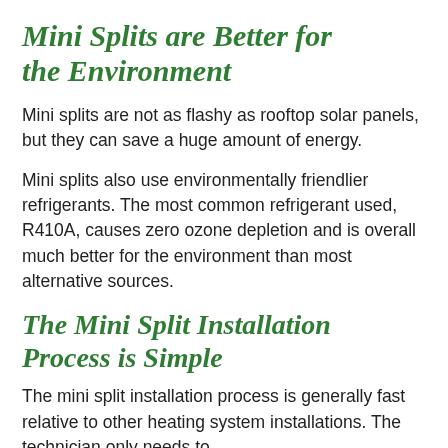Mini Splits are Better for the Environment
Mini splits are not as flashy as rooftop solar panels, but they can save a huge amount of energy.
Mini splits also use environmentally friendlier refrigerants. The most common refrigerant used, R410A, causes zero ozone depletion and is overall much better for the environment than most alternative sources.
The Mini Split Installation Process is Simple
The mini split installation process is generally fast relative to other heating system installations. The technician only needs to